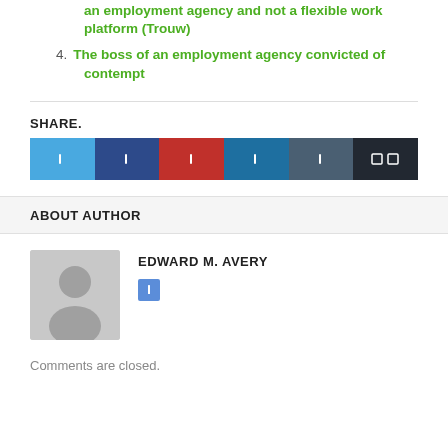an employment agency and not a flexible work platform (Trouw)
4. The boss of an employment agency convicted of contempt
SHARE.
[Figure (other): Row of six social sharing icon buttons: Twitter (light blue), Facebook (dark blue), Pinterest (red), LinkedIn (medium blue), Tumblr (slate blue), More (dark/black) with share count display]
ABOUT AUTHOR
[Figure (photo): Generic grey avatar placeholder image showing a silhouette of a person (head and shoulders)]
EDWARD M. AVERY
Comments are closed.